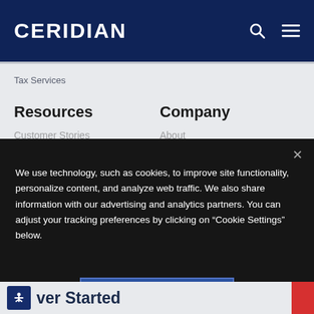CERIDIAN
Tax Services
Resources
Company
Customer Stories
About
We use technology, such as cookies, to improve site functionality, personalize content, and analyze web traffic. We also share information with our advertising and analytics partners. You can adjust your tracking preferences by clicking on “Cookie Settings” below.
Cookie Settings
ver Started